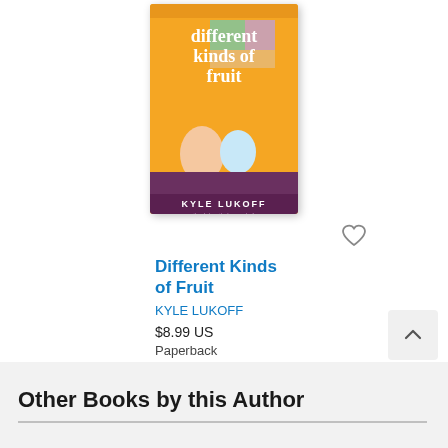[Figure (illustration): Book cover of 'Different Kinds of Fruit' by Kyle Lukoff. Orange background with illustrated characters and title text.]
Different Kinds of Fruit
KYLE LUKOFF
$8.99 US
Paperback
APR 11, 2023
Other Books by this Author